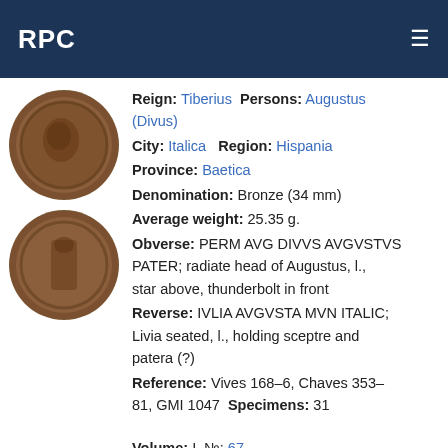RPC
Reign: Tiberius Persons: Augustus (Divus)
City: Italica  Region: Hispania
Province: Baetica
Denomination: Bronze (34 mm)
Average weight: 25.35 g.
Obverse: PERM AVG DIVVS AVGVSTVS PATER; radiate head of Augustus, l., star above, thunderbolt in front
Reverse: IVLIA AVGVSTA MVN ITALIC; Livia seated, l., holding sceptre and patera (?)
Reference: Vives 168-6, Chaves 353-81, GMI 1047 Specimens: 31
Volume: I № 67
Reign: Tiberius Persons: Augustus